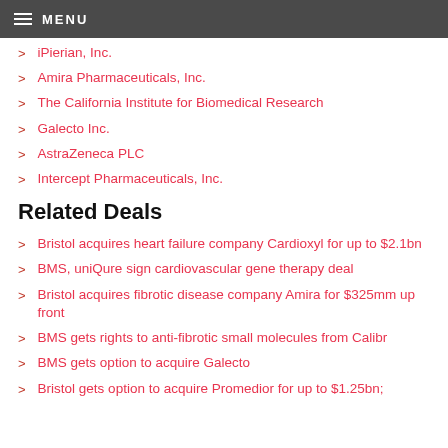MENU
iPierian, Inc.
Amira Pharmaceuticals, Inc.
The California Institute for Biomedical Research
Galecto Inc.
AstraZeneca PLC
Intercept Pharmaceuticals, Inc.
Related Deals
Bristol acquires heart failure company Cardioxyl for up to $2.1bn
BMS, uniQure sign cardiovascular gene therapy deal
Bristol acquires fibrotic disease company Amira for $325mm up front
BMS gets rights to anti-fibrotic small molecules from Calibr
BMS gets option to acquire Galecto
Bristol gets option to acquire Promedior for up to $1.25bn;